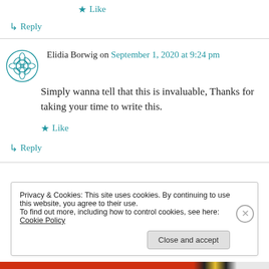★ Like
↳ Reply
Elidia Borwig on September 1, 2020 at 9:24 pm
Simply wanna tell that this is invaluable, Thanks for taking your time to write this.
★ Like
↳ Reply
Privacy & Cookies: This site uses cookies. By continuing to use this website, you agree to their use.
To find out more, including how to control cookies, see here: Cookie Policy
Close and accept